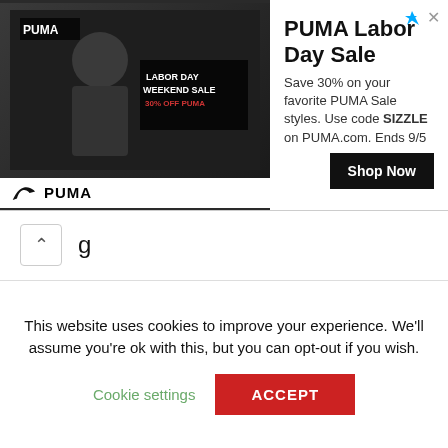[Figure (photo): PUMA Labor Day Sale advertisement banner with an image of a person wearing PUMA gear, text 'LABOR DAY WEEKEND SALE 30% OFF PUMA', PUMA logo, sale description, and Shop Now button]
g
Rato
AUTOMOBILE ENGINES
BMW
Chevrolet
Chrysler
This website uses cookies to improve your experience. We'll assume you're ok with this, but you can opt-out if you wish.
Cookie settings
ACCEPT